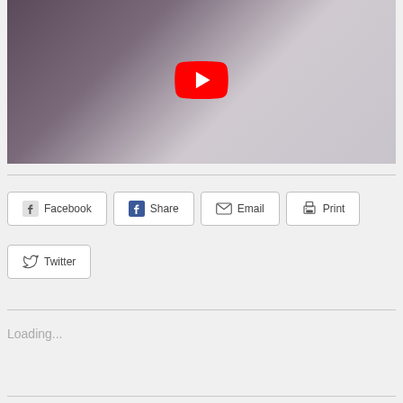[Figure (screenshot): Video thumbnail showing a person in a white coat, with a YouTube play button overlay in the center.]
Facebook
Share
Email
Print
Twitter
Loading...